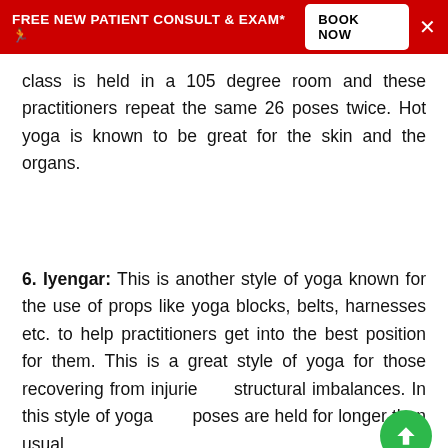FREE NEW PATIENT CONSULT & EXAM* 🏃 BOOK NOW ✕
class is held in a 105 degree room and these practitioners repeat the same 26 poses twice. Hot yoga is known to be great for the skin and the organs.
6. Iyengar: This is another style of yoga known for the use of props like yoga blocks, belts, harnesses etc. to help practitioners get into the best position for them. This is a great style of yoga for those recovering from injuries or structural imbalances. In this style of yoga, the poses are held for longer than usual.